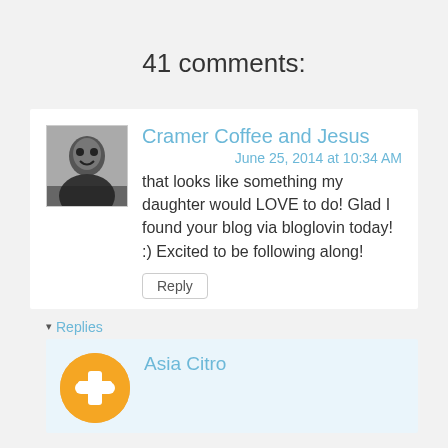41 comments:
Cramer Coffee and Jesus
June 25, 2014 at 10:34 AM
that looks like something my daughter would LOVE to do! Glad I found your blog via bloglovin today! :) Excited to be following along!
Reply
Replies
Asia Citro